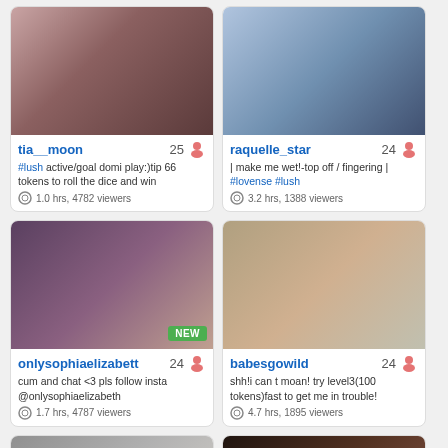[Figure (screenshot): Webcam thumbnail for tia__moon]
tia__moon 25
#lush active/goal domi play:)tip 66 tokens to roll the dice and win
1.0 hrs, 4782 viewers
[Figure (screenshot): Webcam thumbnail for raquelle_star]
raquelle_star 24
| make me wet!-top off / fingering | #lovense #lush
3.2 hrs, 1388 viewers
[Figure (screenshot): Webcam thumbnail for onlysophiaelizabett with NEW badge]
onlysophiaelizabett 24
cum and chat <3 pls follow insta @onlysophiaelizabeth
1.7 hrs, 4787 viewers
[Figure (screenshot): Webcam thumbnail for babesgowild]
babesgowild 24
shh!i can t moan! try level3(100 tokens)fast to get me in trouble!
4.7 hrs, 1895 viewers
[Figure (screenshot): Webcam thumbnail (partial, bottom-left)]
[Figure (screenshot): Webcam thumbnail (partial, bottom-right)]